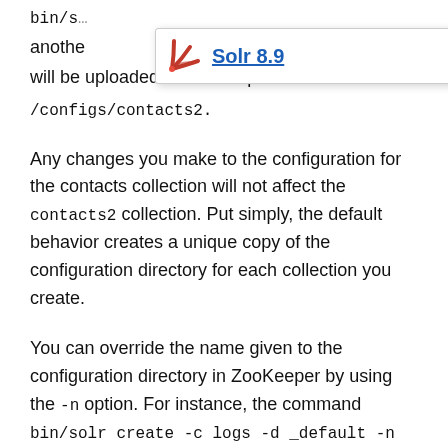bin/s…
[Figure (logo): Solr 8.9 tooltip/popup with Solr logo (red fan/shell icon) and blue underlined text 'Solr 8.9']
another… will be uploaded to ZooKeeper under /configs/contacts2.
Any changes you make to the configuration for the contacts collection will not affect the contacts2 collection. Put simply, the default behavior creates a unique copy of the configuration directory for each collection you create.
You can override the name given to the configuration directory in ZooKeeper by using the -n option. For instance, the command bin/solr create -c logs -d _default -n basic will upload the server/solr/configsets/_default/co…